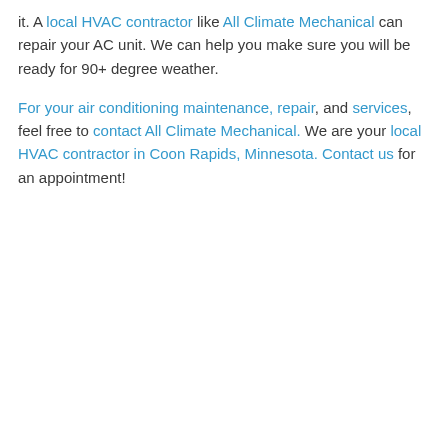it. A local HVAC contractor like All Climate Mechanical can repair your AC unit. We can help you make sure you will be ready for 90+ degree weather.
For your air conditioning maintenance, repair, and services, feel free to contact All Climate Mechanical. We are your local HVAC contractor in Coon Rapids, Minnesota. Contact us for an appointment!